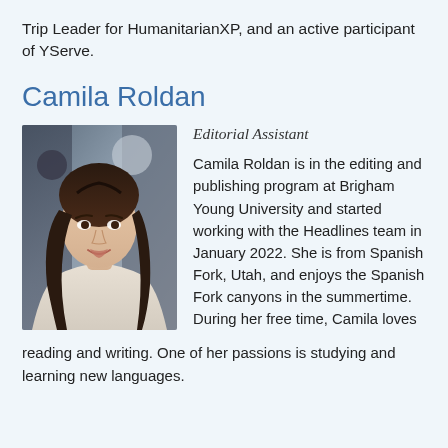Trip Leader for HumanitarianXP, and an active participant of YServe.
Camila Roldan
[Figure (photo): Portrait photo of Camila Roldan, a young woman with long dark brown wavy hair, smiling, wearing a light beige/cream colored top, photographed indoors with a blurred background.]
Editorial Assistant
Camila Roldan is in the editing and publishing program at Brigham Young University and started working with the Headlines team in January 2022. She is from Spanish Fork, Utah, and enjoys the Spanish Fork canyons in the summertime. During her free time, Camila loves reading and writing. One of her passions is studying and learning new languages.